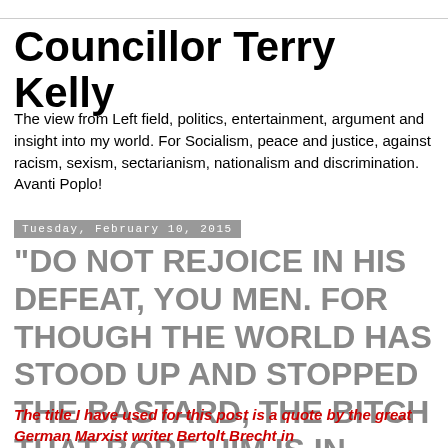Councillor Terry Kelly
The view from Left field, politics, entertainment, argument and insight into my world. For Socialism, peace and justice, against racism, sexism, sectarianism, nationalism and discrimination. Avanti Poplo!
Tuesday, February 10, 2015
"DO NOT REJOICE IN HIS DEFEAT, YOU MEN. FOR THOUGH THE WORLD HAS STOOD UP AND STOPPED THE BASTARD, THE BITCH THAT BORE HIM IS IN HEAT AGAIN"
The title I have used for this post is a quote by the great German Marxist writer Bertolt Brecht in